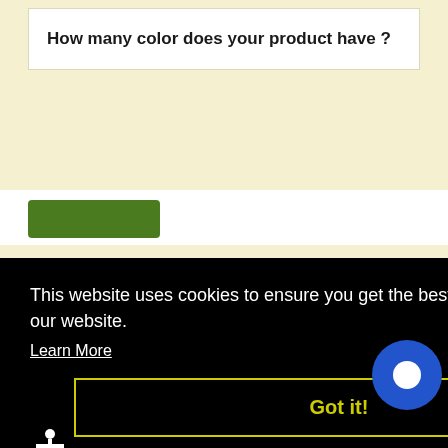How many color does your product have ?
This website uses cookies to ensure you get the best experience on our website.
Learn More
Got it!
(0)